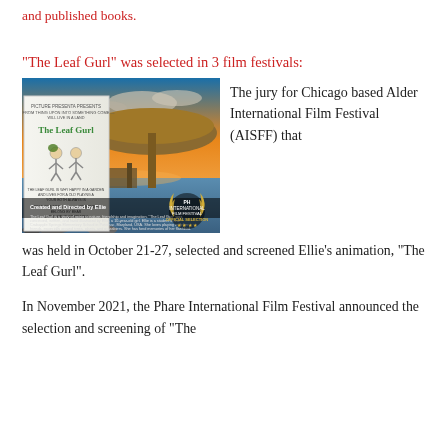and published books.
"The Leaf Gurl" was selected in 3 film festivals:
[Figure (photo): Photo composite showing the cover/poster of 'The Leaf Gurl' animation on the left (with title, child illustrations, and text), overlaid on a beach sunset scene with a thatched umbrella and a dock. An 'Official Selection' laurel badge from Phare International Film Festival is visible in the lower right.]
The jury for Chicago based Alder International Film Festival (AISFF) that was held in October 21-27, selected and screened Ellie's animation, "The Leaf Gurl".
In November 2021, the Phare International Film Festival announced the selection and screening of "The